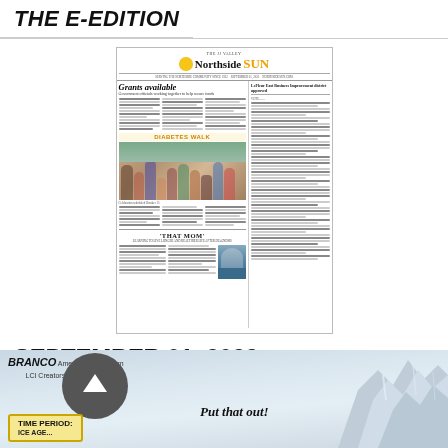THE E-EDITION
[Figure (screenshot): Thumbnail of the Northside SUN newspaper front page dated around September 01, 2022, showing headlines 'Grants available', 'DIABETES WALK' with group photo, and 'THAT MOM' with portrait photo.]
SEPTEMBER 01, 2022
Click here to see all E-editions
[Figure (illustration): Branco political cartoon with a dark circle/arrow logo, text 'BRANCO Americans-Care.com LCI Creators.com', a yellow sign reading 'TIME PERIOD:', and text 'PUT THAT OUT!' with icy scenery on the right.]